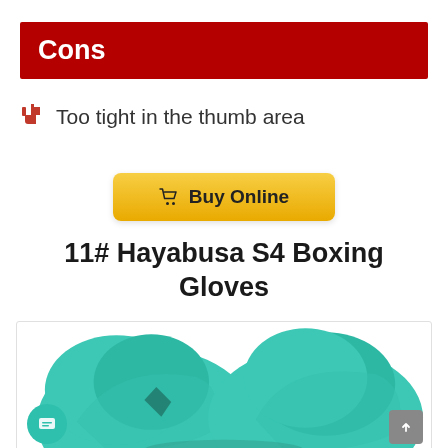Cons
Too tight in the thumb area
[Figure (other): Buy Online button with shopping cart icon, yellow gradient background]
11# Hayabusa S4 Boxing Gloves
[Figure (photo): Teal/mint colored Hayabusa S4 boxing gloves shown from front, with chat widget and scroll-to-top button overlaid]